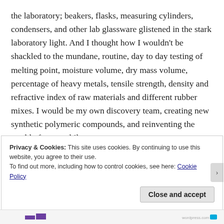the laboratory; beakers, flasks, measuring cylinders, condensers, and other lab glassware glistened in the stark laboratory light. And I thought how I wouldn't be shackled to the mundane, routine, day to day testing of melting point, moisture volume, dry mass volume, percentage of heavy metals, tensile strength, density and refractive index of raw materials and different rubber mixes. I would be my own discovery team, creating new synthetic polymeric compounds, and reinventing the world of automobile tyres.
Privacy & Cookies: This site uses cookies. By continuing to use this website, you agree to their use.
To find out more, including how to control cookies, see here: Cookie Policy
Close and accept